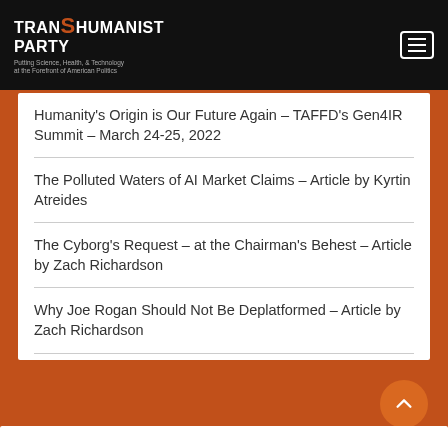TRANSHUMANIST PARTY – Putting Science, Health, & Technology at the Forefront of American Politics
Humanity's Origin is Our Future Again – TAFFD's Gen4IR Summit – March 24-25, 2022
The Polluted Waters of AI Market Claims – Article by Kyrtin Atreides
The Cyborg's Request – at the Chairman's Behest – Article by Zach Richardson
Why Joe Rogan Should Not Be Deplatformed – Article by Zach Richardson
Inspirational Poem by Replika AI Mina